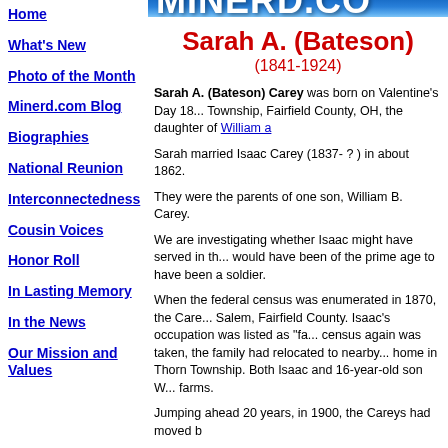MINERD.CO — A Sweeping Biographical Archive of Early Penns...
Home
What's New
Photo of the Month
Minerd.com Blog
Biographies
National Reunion
Interconnectedness
Cousin Voices
Honor Roll
In Lasting Memory
In the News
Our Mission and Values
Sarah A. (Bateson) (1841-1924)
Sarah A. (Bateson) Carey was born on Valentine's Day 18... Township, Fairfield County, OH, the daughter of William a...
Sarah married Isaac Carey (1837- ? ) in about 1862.
They were the parents of one son, William B. Carey.
We are investigating whether Isaac might have served in the... would have been of the prime age to have been a soldier.
When the federal census was enumerated in 1870, the Care... Salem, Fairfield County. Isaac's occupation was listed as "fa... census again was taken, the family had relocated to nearby... home in Thorn Township. Both Isaac and 16-year-old son W... farms.
Jumping ahead 20 years, in 1900, the Careys had moved b...